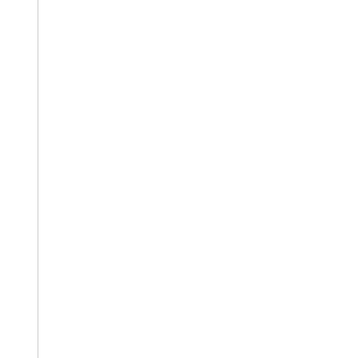/><input type="hidden" n /><select name="alpha_f <option value="0">Itens ( <option value="65">A</o <option value="66">B</o <option value="67">C</o <option value="68">D</o <option value="69">E</o <option value="70">F</o <option value="71">G</o <option value="72">H</o <option value="73">I</op <option value="74">J</op <option value="75">K</o <option value="76">L</op <option value="77">M</o <option value="78">N</o <option value="79">O</o <option value="80">P</o <option value="81">Q</o <option value="82">R</o <option value="83">S</o <option value="84">T</o <option value="85">U</o <option value="86">V</o <option value="87">W</o <option value="88">X</o <option value="89">Y</o <option value="90">Z</o <option value="48">0</op <option value="49">1</o <option value="50">2</o <option value="51">...